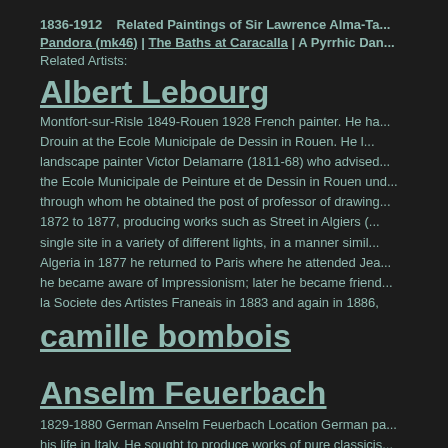1836-1912    Related Paintings of Sir Lawrence Alma-Ta... Pandora (mk46) | The Baths at Caracalla | A Pyrrhic Dan...
Related Artists:
Albert Lebourg
Montfort-sur-Risle 1849-Rouen 1928 French painter. He ha... Drouin at the Ecole Municipale de Dessin in Rouen. He l... landscape painter Victor Delamarre (1811-68) who advised... the Ecole Municipale de Peinture et de Dessin in Rouen und... through whom he obtained the post of professor of drawing... 1872 to 1877, producing works such as Street in Algiers (... single site in a variety of different lights, in a manner simil... Algeria in 1877 he returned to Paris where he attended Jea... he became aware of Impressionism; later he became friend... la Societe des Artistes Franeais in 1883 and again in 1886,
camille bombois
Anselm Feuerbach
1829-1880 German Anselm Feuerbach Location German pa... his life in Italy. He sought to produce works of pure classicis... belong to his Roman period (1856?C73), including Battle... (Munich). His portraits have withstood critical opinion bette... his misunderstood genius.